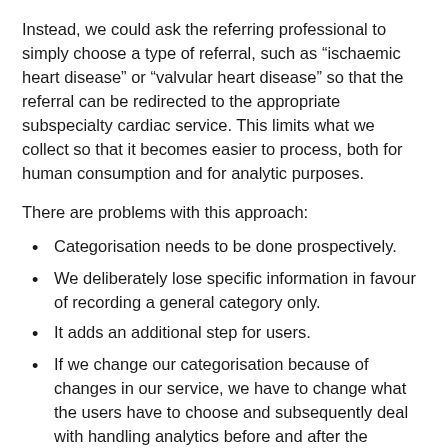Instead, we could ask the referring professional to simply choose a type of referral, such as “ischaemic heart disease” or “valvular heart disease” so that the referral can be redirected to the appropriate subspecialty cardiac service. This limits what we collect so that it becomes easier to process, both for human consumption and for analytic purposes.
There are problems with this approach:
Categorisation needs to be done prospectively.
We deliberately lose specific information in favour of recording a general category only.
It adds an additional step for users.
If we change our categorisation because of changes in our service, we have to change what the users have to choose and subsequently deal with handling analytics before and after the change.